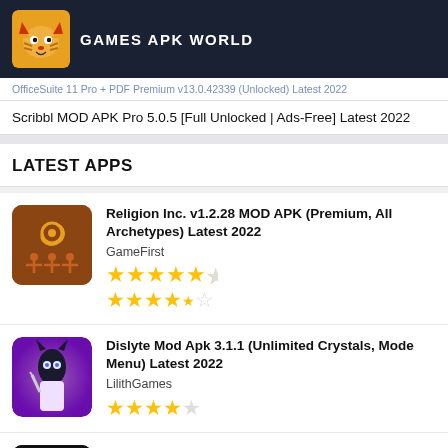GAMES APK WORLD
OfficeSuite 11 Pro + PDF Premium v13.0.42339 (Unlocked) Latest 2022
Scribbl MOD APK Pro 5.0.5 [Full Unlocked | Ads-Free] Latest 2022
LATEST APPS
Religion Inc. v1.2.28 MOD APK (Premium, All Archetypes) Latest 2022
GameFirst
★★★★½
Dislyte Mod Apk 3.1.1 (Unlimited Crystals, Mode Menu) Latest 2022
LilithGames
★★★★☆
NetBoom MOD APK v1.5.7.4 (Unlimited Time/Free Recharge) Latest 2022
Best Cloud Gaming Platform - Netboom Ltd.